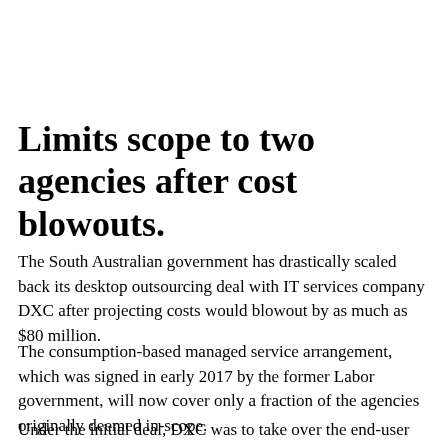Limits scope to two agencies after cost blowouts.
The South Australian government has drastically scaled back its desktop outsourcing deal with IT services company DXC after projecting costs would blowout by as much as $80 million.
The consumption-based managed service arrangement, which was signed in early 2017 by the former Labor government, will now cover only a fraction of the agencies originally deemed in-scope.
Under the initial deal, DXC was to take over the end-user computing responsibilities, including the purchase of desktops and laptops, of all 17 state government agencies, with transition to be